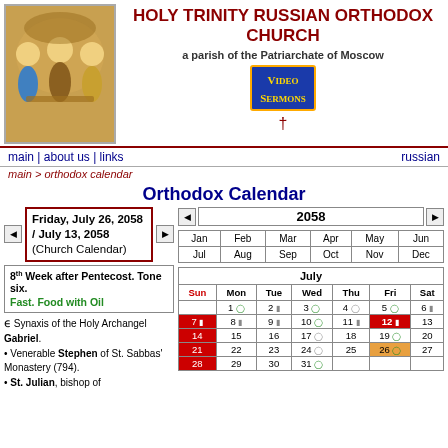HOLY TRINITY RUSSIAN ORTHODOX CHURCH
a parish of the Patriarchate of Moscow
[Figure (illustration): Icon of the Holy Trinity (Rublev style), three angelic figures seated at a table]
[Figure (logo): Video Sermons badge with gold and blue styling]
main | about us | links    russian
main > orthodox calendar
Orthodox Calendar
Friday, July 26, 2058 / July 13, 2058 (Church Calendar)
2058
8th Week after Pentecost. Tone six.
Fast. Food with Oil
Synaxis of the Holy Archangel Gabriel.
Venerable Stephen of St. Sabbas' Monastery (794).
St. Julian, bishop of
| Jan | Feb | Mar | Apr | May | Jun | Jul | Aug | Sep | Oct | Nov | Dec |
| --- | --- | --- | --- | --- | --- | --- | --- | --- | --- | --- | --- |
| Sun | Mon | Tue | Wed | Thu | Fri | Sat |
| --- | --- | --- | --- | --- | --- | --- |
|  | 1 | 2 | 3 | 4 | 5 | 6 |
| 7 | 8 | 9 | 10 | 11 | 12 | 13 |
| 14 | 15 | 16 | 17 | 18 | 19 | 20 |
| 21 | 22 | 23 | 24 | 25 | 26 | 27 |
| 28 | 29 | 30 | 31 |  |  |  |